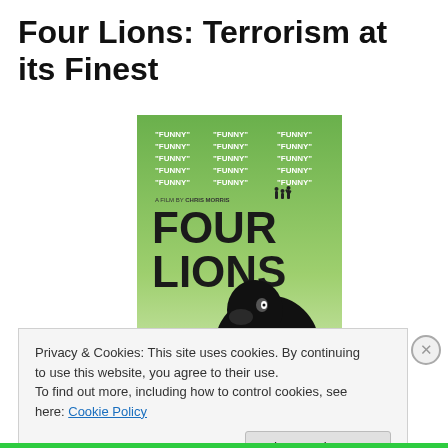Four Lions: Terrorism at its Finest
[Figure (photo): Movie poster for Four Lions directed by Chris Morris. Green background with repeated word 'FUNNY' quotes at top, large bold text 'FOUR LIONS' in the middle, and a black crow/bird looking up at the bottom. Rated R - Restricted.]
Privacy & Cookies: This site uses cookies. By continuing to use this website, you agree to their use.
To find out more, including how to control cookies, see here: Cookie Policy